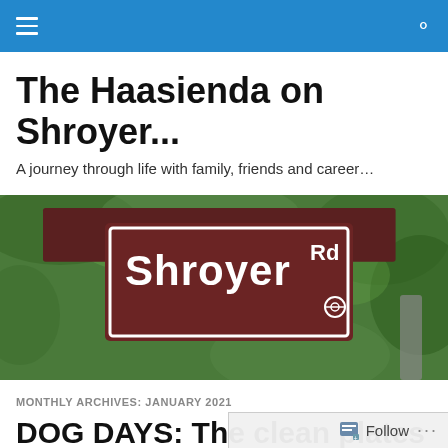The Haasienda on Shroyer... (navigation bar)
The Haasienda on Shroyer...
A journey through life with family, friends and career...
[Figure (photo): A brown street sign reading 'Shroyer Rd' against a green leafy background]
MONTHLY ARCHIVES: JANUARY 2021
DOG DAYS: The clean plates